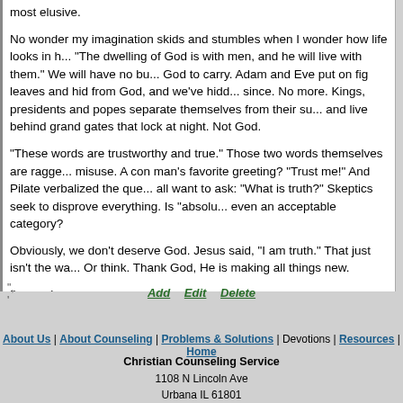most elusive.
No wonder my imagination skids and stumbles when I wonder how life looks in heaven. "The dwelling of God is with men, and he will live with them." We will have no burdens for God to carry. Adam and Eve put on fig leaves and hid from God, and we've hidden since. No more. Kings, presidents and popes separate themselves from their subjects and live behind grand gates that lock at night. Not God.
"These words are trustworthy and true." Those two words themselves are ragged with misuse. A con man's favorite greeting? "Trust me!" And Pilate verbalized the question we all want to ask: "What is truth?" Skeptics seek to disprove everything. Is "absolute truth" even an acceptable category?
Obviously, we don't deserve God. Jesus said, "I am truth." That just isn't the way we live. Or think. Thank God, He is making all things new.
I'm ready.
Lord, shut my mouth and open my eyes. Let me know your truth and let it set me...
",
'
Add   Edit   Delete
About Us | About Counseling | Problems & Solutions | Devotions | Resources | Home
Christian Counseling Service
1108 N Lincoln Ave
Urbana IL 61801
217.377.2298
dave@christiancounselingservice.com